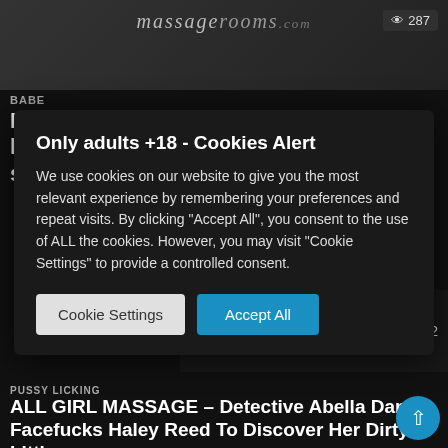[Figure (screenshot): Top video thumbnail showing massagerooms branding and view count 287]
BABE
Massage Rooms Gorgeous teen lesbians oil each other and share sensual trib
Only adults +18 - Cookies Alert
We use cookies on our website to give you the most relevant experience by remembering your preferences and repeat visits. By clicking "Accept All", you consent to the use of ALL the cookies. However, you may visit "Cookie Settings" to provide a controlled consent.
Cookie Settings   Accept All
[Figure (screenshot): Bottom video thumbnail showing All Girl Massage branding and view count 312]
PUSSY LICKING
ALL GIRL MASSAGE – Detective Abella Dang Facefucks Haley Reed To Discover Her Dirty Little